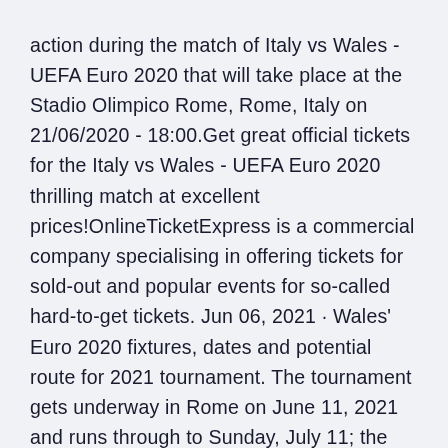action during the match of Italy vs Wales - UEFA Euro 2020 that will take place at the Stadio Olimpico Rome, Rome, Italy on 21/06/2020 - 18:00.Get great official tickets for the Italy vs Wales - UEFA Euro 2020 thrilling match at excellent prices!OnlineTicketExpress is a commercial company specialising in offering tickets for sold-out and popular events for so-called hard-to-get tickets. Jun 06, 2021 · Wales' Euro 2020 fixtures, dates and potential route for 2021 tournament. The tournament gets underway in Rome on June 11, 2021 and runs through to Sunday, July 11; the semi-finals and final take Italy vs Wales - UEFA Euro 2020.
Get a summary of the Wales vs Italy, Six Nations 2020 1 Feb, 2020 rugby match